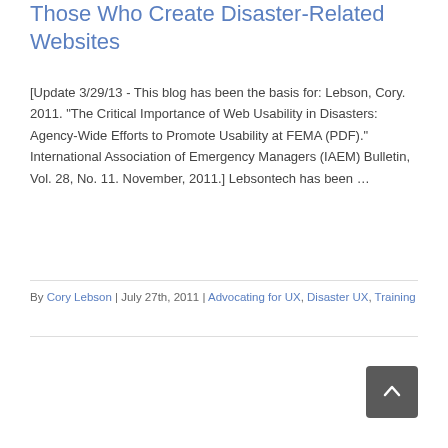Those Who Create Disaster-Related Websites
[Update 3/29/13 - This blog has been the basis for: Lebson, Cory. 2011. "The Critical Importance of Web Usability in Disasters: Agency-Wide Efforts to Promote Usability at FEMA (PDF)." International Association of Emergency Managers (IAEM) Bulletin, Vol. 28, No. 11. November, 2011.] Lebsontech has been ...
By Cory Lebson | July 27th, 2011 | Advocating for UX, Disaster UX, Training